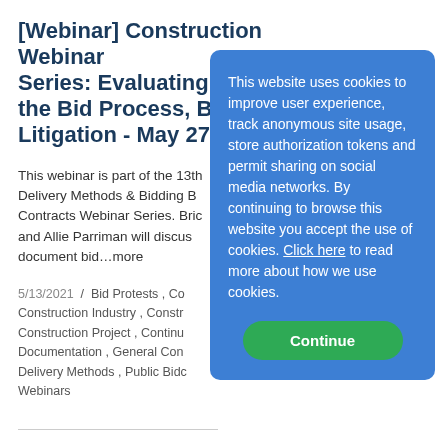[Webinar] Construction Webinar Series: Evaluating & the Bid Process, Bid Litigation - May 27th
This webinar is part of the 13th Delivery Methods & Bidding B... Contracts Webinar Series. Bric and Allie Parriman will discuss document bid...more
5/13/2021 / Bid Protests , Co... Construction Industry , Constr... Construction Project , Continu... Documentation , General Cont... Delivery Methods , Public Bidc... Webinars
[Figure (screenshot): Cookie consent overlay popup with blue background. Text reads: 'This website uses cookies to improve user experience, track anonymous site usage, store authorization tokens and permit sharing on social media networks. By continuing to browse this website you accept the use of cookies. Click here to read more about how we use cookies.' Green 'Continue' button at bottom.]